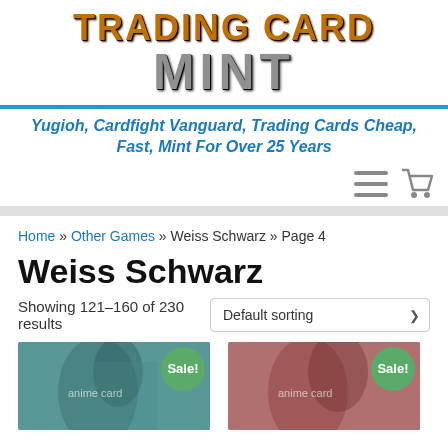[Figure (logo): Trading Card Mint logo with stylized text - TRADING CARD in orange/gold and MINT in silver/gray metallic style]
Yugioh, Cardfight Vanguard, Trading Cards Cheap, Fast, Mint For Over 25 Years
[Figure (illustration): Navigation icons: hamburger menu and shopping cart icons in gray]
Home » Other Games » Weiss Schwarz » Page 4
Weiss Schwarz
Showing 121–160 of 230 results
[Figure (screenshot): Two product card images - anime characters, each with a green Sale! badge]
Sale!
Sale!